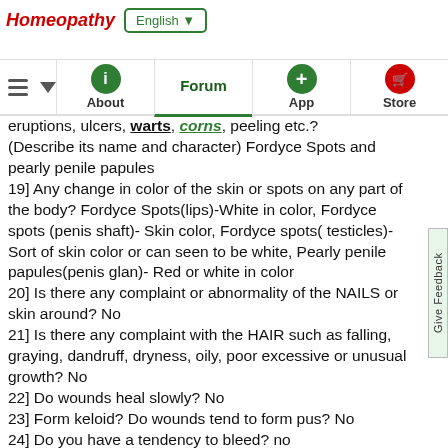Homeopathy | English ▼ | ≡ ▼ | About | Forum | App | Store
eruptions, ulcers, warts, corns, peeling etc.? (Describe its name and character) Fordyce Spots and pearly penile papules
19] Any change in color of the skin or spots on any part of the body? Fordyce Spots(lips)-White in color, Fordyce spots (penis shaft)- Skin color, Fordyce spots( testicles)- Sort of skin color or can seen to be white, Pearly penile papules(penis glan)- Red or white in color
20] Is there any complaint or abnormality of the NAILS or skin around? No
21] Is there any complaint with the HAIR such as falling, graying, dandruff, dryness, oily, poor excessive or unusual growth? No
22] Do wounds heal slowly? No
23] Form keloid? Do wounds tend to form pus? No
24] Do you have a tendency to bleed? no
25] Are your troubles one sided? Which one? Or more on one side? Do they proceed from one to the other side? Or do they alternate or shift? no
27] Is there any trembling? When? Is there any sense of weakness? Where? When is it more or less? Is it in any particular part of the body? no